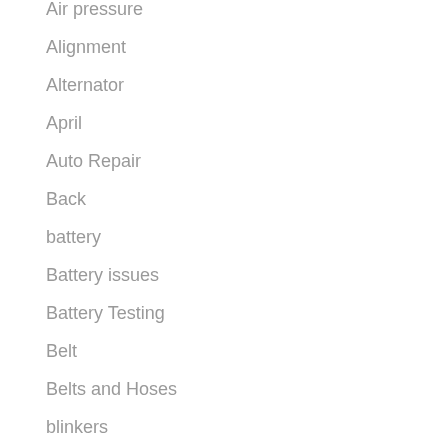Air pressure
Alignment
Alternator
April
Auto Repair
Back
battery
Battery issues
Battery Testing
Belt
Belts and Hoses
blinkers
Block heater
Boat trailer
Brake